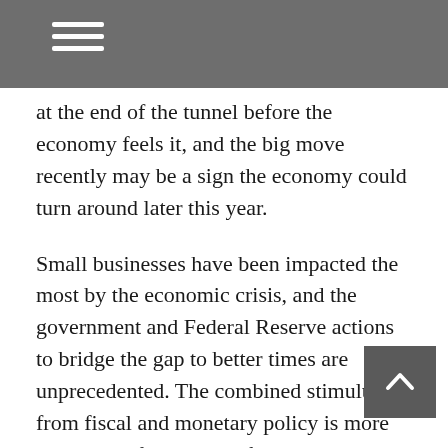at the end of the tunnel before the economy feels it, and the big move recently may be a sign the economy could turn around later this year.
Small businesses have been impacted the most by the economic crisis, and the government and Federal Reserve actions to bridge the gap to better times are unprecedented. The combined stimulus from fiscal and monetary policy is more than 20% of the value of the entire US economy, as measured by gross domestic product, greatly mitigating the economic hardships. The hurried roll out of the small business loan program wasn't perfect, but it is helping those businesses.
This recession—though not officially declared yet—is unlike any other. It wasn't caused by the virus itself, by the government telling people to stay home in an effort to flatten the curve. The government can't simply turn on